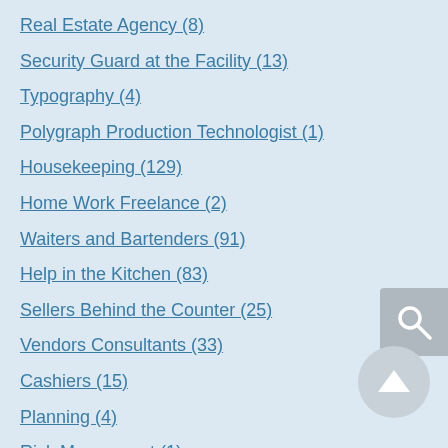Real Estate Agency (8)
Security Guard at the Facility (13)
Typography (4)
Polygraph Production Technologist (1)
Housekeeping (129)
Home Work Freelance (2)
Waiters and Bartenders (91)
Help in the Kitchen (83)
Sellers Behind the Counter (25)
Vendors Consultants (33)
Cashiers (15)
Planning (4)
Risk Managment (1)
Field work (34)
Livestock raising (51)
Greenhouses and greenhouses (8)
Packaging Worker (77)
Loader Operator (29)
Acceptance of Delivery (85)
Purchasing Manager (7)